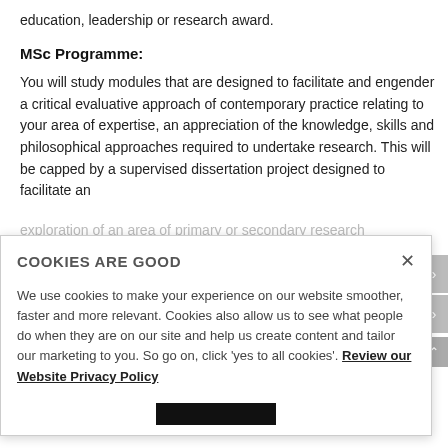education, leadership or research award.
MSc Programme:
You will study modules that are designed to facilitate and engender a critical evaluative approach of contemporary practice relating to your area of expertise, an appreciation of the knowledge, skills and philosophical approaches required to undertake research. This will be capped by a supervised dissertation project designed to facilitate an exploration of an area of primary or secondary research
COOKIES ARE GOOD
We use cookies to make your experience on our website smoother, faster and more relevant. Cookies also allow us to see what people do when they are on our site and help us create content and tailor our marketing to you. So go on, click 'yes to all cookies'. Review our Website Privacy Policy